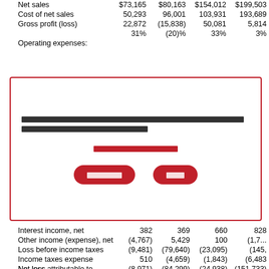|  | Col1 | Col2 | Col3 | Col4 |
| --- | --- | --- | --- | --- |
| Net sales | $73,165 | $80,163 | $154,012 | $199,503 |
| Cost of net sales | 50,293 | 96,001 | 103,931 | 193,689 |
| Gross profit (loss) | 22,872 | (15,838) | 50,081 | 5,814 |
|  | 31% | (20)% | 33% | 3% |
| Operating expenses: |  |  |  |  |
[redacted modal dialog with redacted body text, redacted link, and two redacted buttons]
|  | Col1 | Col2 | Col3 | Col4 |
| --- | --- | --- | --- | --- |
| Interest income, net | 382 | 369 | 660 | 828 |
| Other income (expense), net | (4,767) | 5,429 | 100 | (1,7...) |
| Loss before income taxes | (9,481) | (79,640) | (23,095) | (145,...) |
| Income taxes expense | 510 | (4,659) | (1,843) | (6,483) |
| Net loss | (8,971) | (84,299) | (24,938) | (151,733) |
| Net loss attributable to noncontrolling interest | 6 | 16 | 10 | 17 |